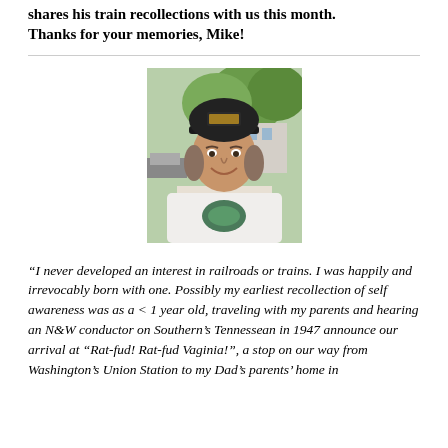shares his train recollections with us this month. Thanks for your memories, Mike!
[Figure (photo): Man wearing a dark baseball cap with 'Little River Railroad' text, white t-shirt with a graphic, smiling, outdoors with trees in background]
“I never developed an interest in railroads or trains. I was happily and irrevocably born with one. Possibly my earliest recollection of self awareness was as a < 1 year old, traveling with my parents and hearing an N&W conductor on Southern’s Tennessean in 1947 announce our arrival at “Rat-fud! Rat-fud Vaginia!”, a stop on our way from Washington’s Union Station to my Dad’s parents’ home in